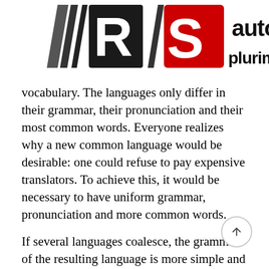[Figure (logo): RS auto plurimarche logo overlaid on top of text — black RS motorsport logo on left with red S, and 'auto plurimarche' text in black/red on right]
vocabulary. The languages only differ in their grammar, their pronunciation and their most common words. Everyone realizes why a new common language would be desirable: one could refuse to pay expensive translators. To achieve this, it would be necessary to have uniform grammar, pronunciation and more common words.
If several languages coalesce, the grammar of the resulting language is more simple and regular than that of the individual languages. The new common language will be more simple and regular than the existing European languages. It will be as simple as Occidental; in fact, it will be Occidental. To an English person, it will seem like simplified English as a skeptical Cambridge friend of mine told me what Occidental is The European languages are